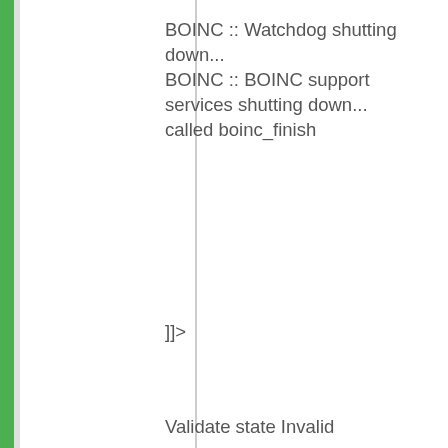BOINC :: Watchdog shutting down...
BOINC :: BOINC support services shutting down...
called boinc_finish
]]>
Validate state Invalid
The validation errors are related to some new protocols and file formats that we're using in the CASP8 experiment (starting in several hours!). We've sorted more of them out on the BOINC validation server, and we're doing another update right now.